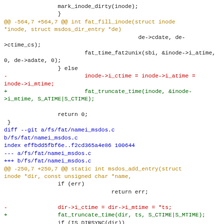Diff/patch code showing changes to fat/inode.c and fat/namei_msdos.c Linux kernel files, replacing direct time assignments with fat_truncate_time() calls.